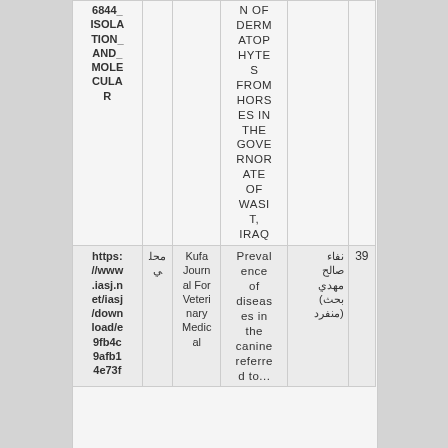| URL | Scope | Journal | Title | Author | No. |
| --- | --- | --- | --- | --- | --- |
| 6844_ISOLATION_AND_MOLECULAR |  |  | N OF DERMATOPHYTES FROM HORSES IN THE GOVERNORATE OF WASIT, IRAQ |  |  |
| https://www.iasj.net/iasj/download/e9fb4c9afb14e73f | محلي | Kufa Journal For Veterinary Medical | Prevalence of diseases in the canine referred to... | نفاء صالح مهدي (بحث منفرد) | 39 |